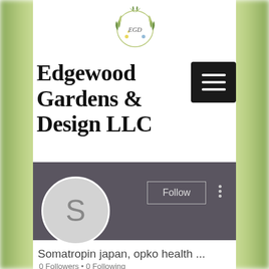[Figure (logo): Edgewood Gardens & Design LLC floral wreath logo with initials EGD]
Edgewood Gardens & Design LLC
[Figure (screenshot): Social media profile page for user 'Somatropin japan, opko health...' with avatar showing letter S, Follow button, dark grey banner, 0 Followers • 0 Following]
Somatropin japan, opko health ...
0 Followers • 0 Following